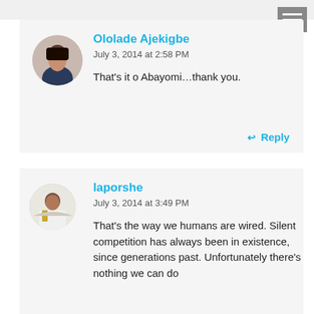[Figure (screenshot): Menu hamburger icon in gray box at top right]
Ololade Ajekigbe
July 3, 2014 at 2:58 PM
That's it o Abayomi…thank you.
↩ Reply
laporshe
July 3, 2014 at 3:49 PM
That's the way we humans are wired. Silent competition has always been in existence, since generations past. Unfortunately there's nothing we can do